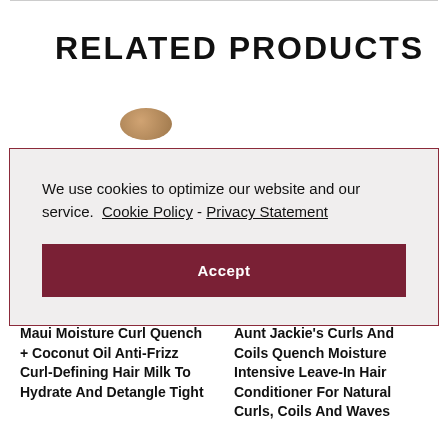RELATED PRODUCTS
We use cookies to optimize our website and our service.  Cookie Policy - Privacy Statement
Accept
Maui Moisture Curl Quench + Coconut Oil Anti-Frizz Curl-Defining Hair Milk To Hydrate And Detangle Tight Curls
Aunt Jackie's Curls And Coils Quench Moisture Intensive Leave-In Hair Conditioner For Natural Curls, Coils And Waves